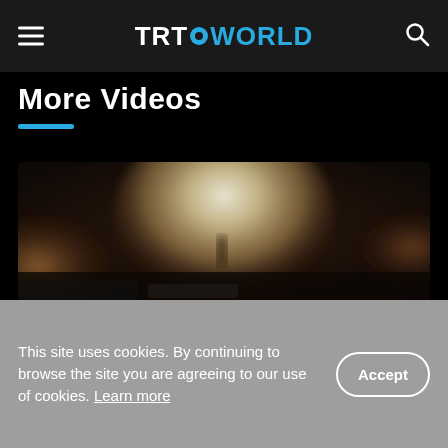TRT WORLD
More Videos
[Figure (photo): Blurred video thumbnail showing a figure standing in front of a large explosion or smoke cloud, with dark surroundings and orange-tinted smoke]
This site uses cookies. By continuing to browse the site you are agreeing to our use of cookies. Learn more